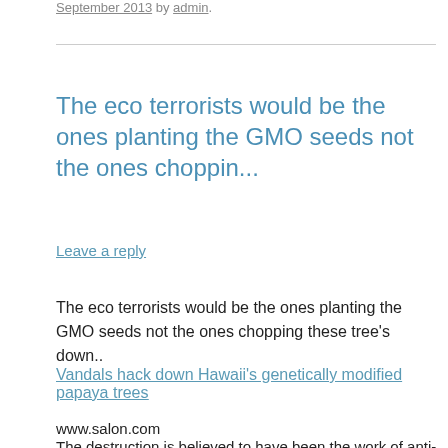September 2013 by admin.
The eco terrorists would be the ones planting the GMO seeds not the ones choppin...
Leave a reply
The eco terrorists would be the ones planting the GMO seeds not the ones chopping these tree's down..
Vandals hack down Hawaii's genetically modified papaya trees
www.salon.com
The destruction is believed to have been the work of anti-GMO activists ...read more